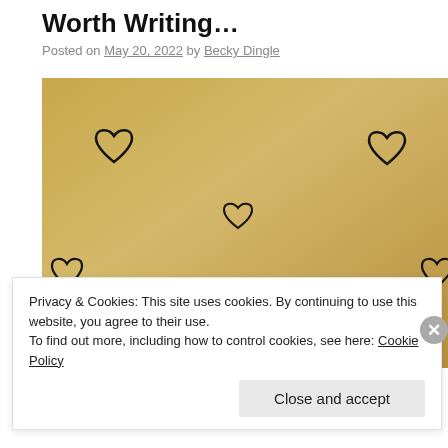Worth Writing…
Posted on May 20, 2022 by Becky Dingle
[Figure (photo): Gold/tan background with hand-drawn black hearts scattered across it and partial cursive text 'a great' visible at the bottom of the image.]
Privacy & Cookies: This site uses cookies. By continuing to use this website, you agree to their use.
To find out more, including how to control cookies, see here: Cookie Policy
Close and accept